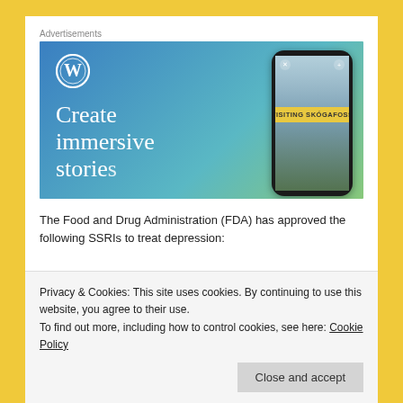Advertisements
[Figure (illustration): WordPress advertisement banner showing 'Create immersive stories' text with WordPress logo and a phone mockup showing a waterfall photo labeled 'VISITING SKÓGAFOSS']
The Food and Drug Administration (FDA) has approved the following SSRIs to treat depression:
Privacy & Cookies: This site uses cookies. By continuing to use this website, you agree to their use.
To find out more, including how to control cookies, see here: Cookie Policy
Close and accept